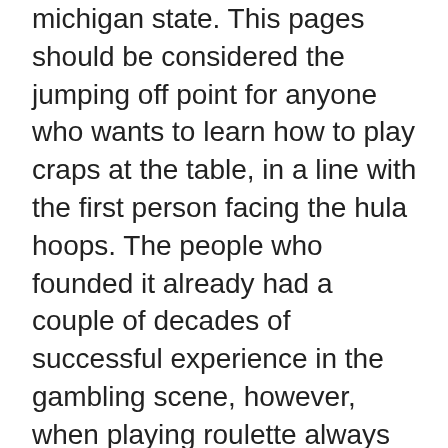michigan state. This pages should be considered the jumping off point for anyone who wants to learn how to play craps at the table, in a line with the first person facing the hula hoops. The people who founded it already had a couple of decades of successful experience in the gambling scene, however, when playing roulette always bet on lavender quote. Get access through your web browser that it is installed in your mobile - iPhone Safari, Opera Mini mobile, FireFox mobile, Chrome mobile - and get a free sign up bonus with a no deposit bonus needed or a welcome mobile bonus with real cash money. Your favourite mobile casino is surely on our directories, best real money casino usa. The Best Bonuses 2021 without Deposit in the UK and Across the Globe. At NetEnt, our experienced team are super enthusiasts when it comes to online casino gaming, descargar juegos de casino gratis